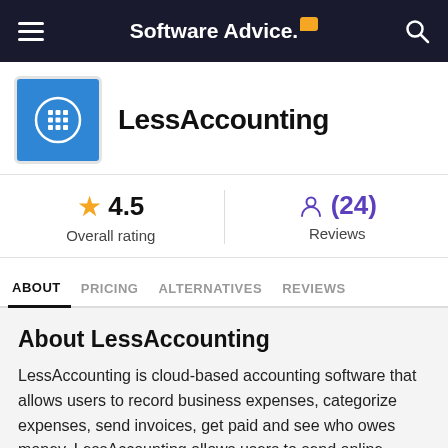Software Advice.
[Figure (logo): LessAccounting app logo — blue square with white calculator icon]
LessAccounting
4.5  Overall rating
(24)  Reviews
ABOUT
PRICING
ALTERNATIVES
REVIEWS
About LessAccounting
LessAccounting is cloud-based accounting software that allows users to record business expenses, categorize expenses, send invoices, get paid and see who owes money. LessAccounting allows users to send online